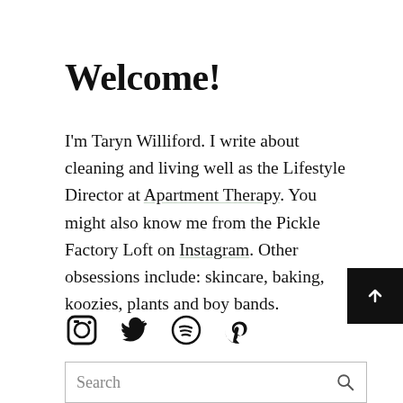Welcome!
I'm Taryn Williford. I write about cleaning and living well as the Lifestyle Director at Apartment Therapy. You might also know me from the Pickle Factory Loft on Instagram. Other obsessions include: skincare, baking, koozies, plants and boy bands.
[Figure (illustration): Four social media icons in a row: Instagram, Twitter, Spotify, Pinterest]
[Figure (illustration): Black scroll-to-top button with upward arrow chevron]
[Figure (screenshot): Search bar with placeholder text 'Search' and a magnifying glass icon]